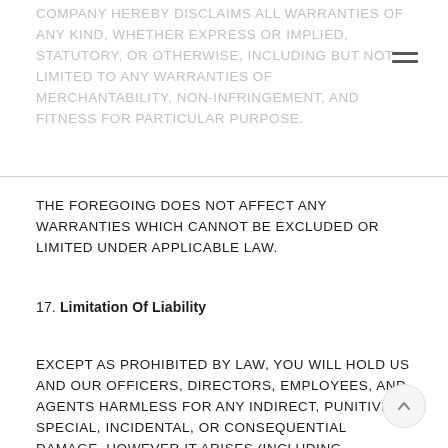COMPANY HEREBY DISCLAIMS ALL WARRANTIES OF ANY KIND, WHETHER EXPRESS OR IMPLIED, STATUTORY, OR OTHERWISE, INCLUDING BUT NOT LIMITED TO ANY WARRANTIES OF MERCHANTABILITY, NON-INFRINGEMENT, AND FITNESS FOR PARTICULAR PURPOSE.
THE FOREGOING DOES NOT AFFECT ANY WARRANTIES WHICH CANNOT BE EXCLUDED OR LIMITED UNDER APPLICABLE LAW.
17. Limitation Of Liability
EXCEPT AS PROHIBITED BY LAW, YOU WILL HOLD US AND OUR OFFICERS, DIRECTORS, EMPLOYEES, AND AGENTS HARMLESS FOR ANY INDIRECT, PUNITIVE, SPECIAL, INCIDENTAL, OR CONSEQUENTIAL DAMAGE, HOWEVER IT ARISES (INCLUDING ATTORNEYS' FEES AND ALL RELATED COSTS AND EXPENSES OF LITIGATION AND ARBITRATION, OR AT TRIAL OR ON APPEAL, IF ANY, WHETHER OR NOT LITIGATION OR ARBITRATION IS INSTITUTED), WHETHER IN AN ACTION OF CONTRACT,